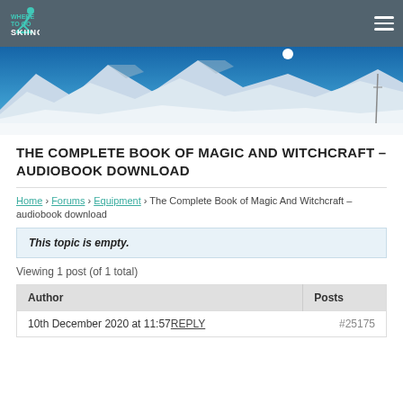WHERE TO GO SKIING navigation header
[Figure (photo): Panoramic snowy mountain ski resort scene with blue sky and bright sun]
THE COMPLETE BOOK OF MAGIC AND WITCHCRAFT – AUDIOBOOK DOWNLOAD
Home › Forums › Equipment › The Complete Book of Magic And Witchcraft – audiobook download
This topic is empty.
Viewing 1 post (of 1 total)
| Author | Posts |
| --- | --- |
| 10th December 2020 at 11:57 REPLY | #25175 |